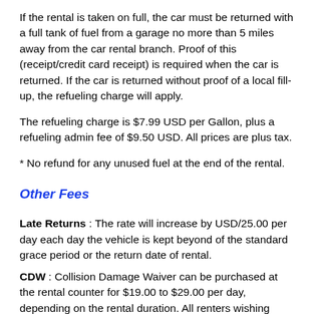If the rental is taken on full, the car must be returned with a full tank of fuel from a garage no more than 5 miles away from the car rental branch. Proof of this (receipt/credit card receipt) is required when the car is returned. If the car is returned without proof of a local fill-up, the refueling charge will apply.
The refueling charge is $7.99 USD per Gallon, plus a refueling admin fee of $9.50 USD. All prices are plus tax.
* No refund for any unused fuel at the end of the rental.
Other Fees
Late Returns: The rate will increase by USD/25.00 per day each day the vehicle is kept beyond of the standard grace period or the return date of rental.
CDW: Collision Damage Waiver can be purchased at the rental counter for $19.00 to $29.00 per day, depending on the rental duration. All renters wishing